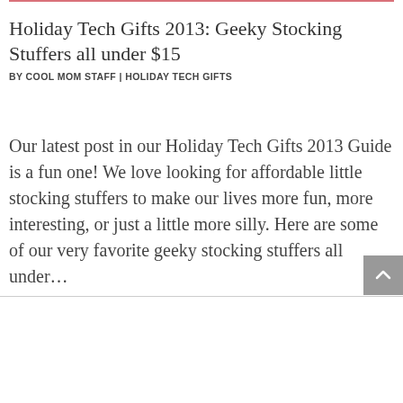Holiday Tech Gifts 2013: Geeky Stocking Stuffers all under $15
BY COOL MOM STAFF | HOLIDAY TECH GIFTS
Our latest post in our Holiday Tech Gifts 2013 Guide is a fun one! We love looking for affordable little stocking stuffers to make our lives more fun, more interesting, or just a little more silly. Here are some of our very favorite geeky stocking stuffers all under…